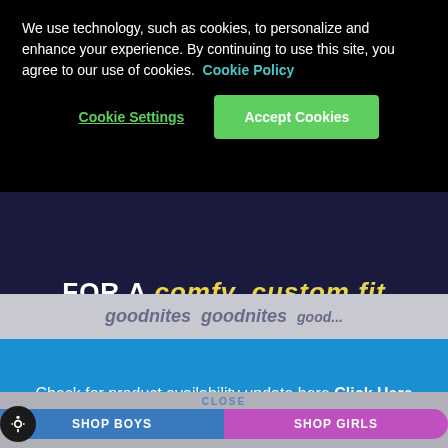We use technology, such as cookies, to personalize and enhance your experience. By continuing to use this site, you agree to our use of cookies. Cookie Policy
Cookie Settings | Accept Cookies
FOR A comfy, custom fit
CLOSE
SHOP BOYS | SHOP GIRLS
Check for product availability update here Click Here